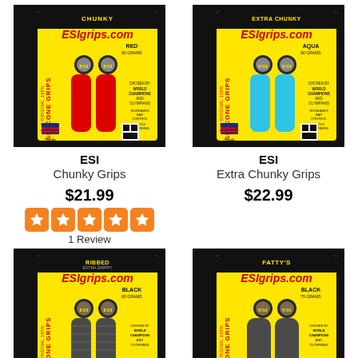[Figure (photo): ESI Chunky Grips product packaging - red grips on yellow/black card]
ESI
Chunky Grips
$21.99
[Figure (infographic): 5-star rating display with orange star icons]
1 Review
[Figure (photo): ESI Extra Chunky Grips product packaging - aqua/blue grips on yellow/black card]
ESI
Extra Chunky Grips
$22.99
[Figure (photo): ESI Ribbed Grips product packaging - black grips on yellow/black card]
[Figure (photo): ESI Fatty's Grips product packaging - black grips on yellow/black card]